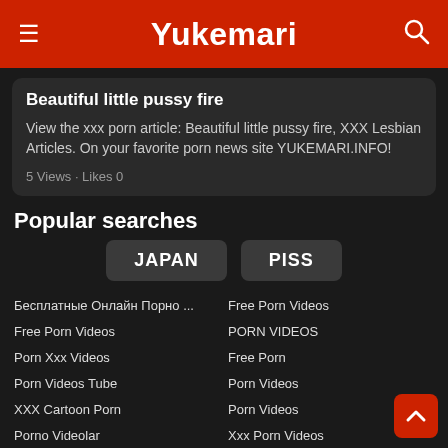Yukemari
Beautiful little pussy fire
View the xxx porn article: Beautiful little pussy fire, XXX Lesbian Articles. On your favorite porn news site YUKEMARI.INFO!
5 Views · Likes 0
Popular searches
JAPAN
PISS
Бесплатные Онлайн Порно ...
Free Porn Videos
Porn Xxx Videos
Porn Videos Tube
XXX Cartoon Porn
Porno Videolar
Free Porn Videos
Free Porn Videos
PORN VIDEOS
Free Porn
Porn Videos
Porn Videos
Xxx Porn Videos
Free Asian Porn Videos